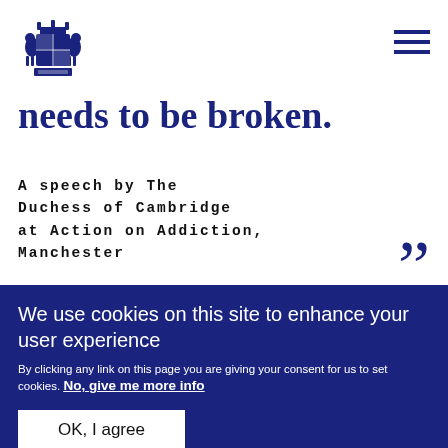[Figure (logo): Royal coat of arms crest logo in dark navy blue]
needs to be broken.
A speech by The Duchess of Cambridge at Action on Addiction, Manchester
”
We use cookies on this site to enhance your user experience
By clicking any link on this page you are giving your consent for us to set cookies. No, give me more info
OK, I agree